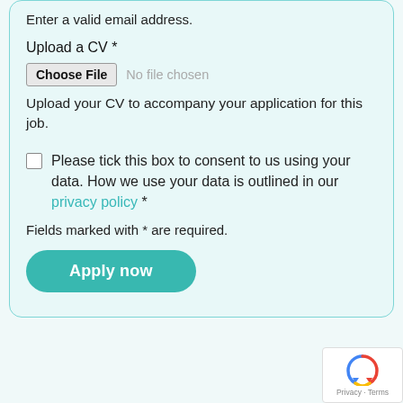Enter a valid email address.
Upload a CV *
Choose File  No file chosen
Upload your CV to accompany your application for this job.
Please tick this box to consent to us using your data. How we use your data is outlined in our privacy policy *
Fields marked with * are required.
Apply now
[Figure (logo): reCAPTCHA badge with circular arrow icon and Privacy · Terms text]